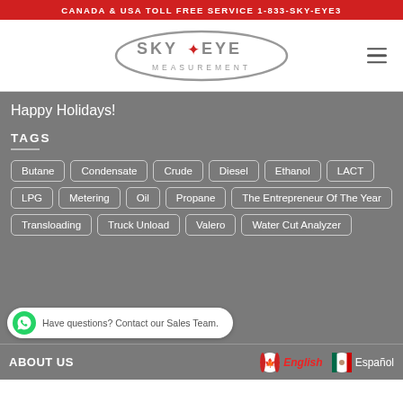CANADA & USA TOLL FREE SERVICE 1-833-SKY-EYE3
[Figure (logo): Sky Eye Measurement logo — oval gray outline with 'SKY★EYE' text and 'MEASUREMENT' below, red maple leaf star]
Happy Holidays!
TAGS
Butane
Condensate
Crude
Diesel
Ethanol
LACT
LPG
Metering
Oil
Propane
The Entrepreneur Of The Year
Transloading
Truck Unload
Valero
Water Cut Analyzer
Have questions? Contact our Sales Team.
ABOUT US
English
Español